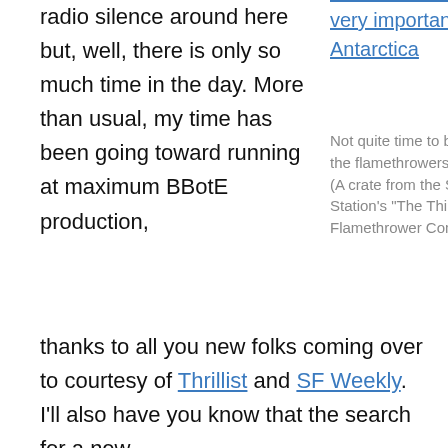radio silence around here but, well, there is only so much time in the day. More than usual, my time has been going toward running at maximum BBotE production,
very important to us in Antarctica
Not quite time to break out the flamethrowers here...yet. (A crate from the South Pole Station's "The Thing" DIY Flamethrower Competition)
thanks to all you new folks coming over to courtesy of Thrillist and SF Weekly. I’ll also have you know that the search for a new